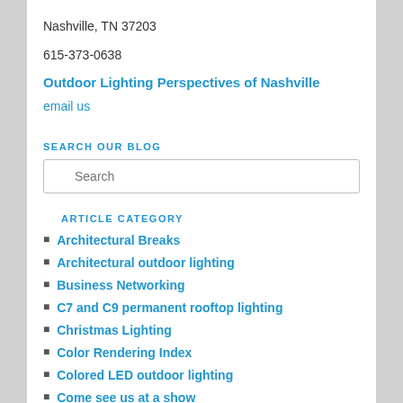Nashville, TN 37203
615-373-0638
Outdoor Lighting Perspectives of Nashville
email us
SEARCH OUR BLOG
ARTICLE CATEGORY
Architectural Breaks
Architectural outdoor lighting
Business Networking
C7 and C9 permanent rooftop lighting
Christmas Lighting
Color Rendering Index
Colored LED outdoor lighting
Come see us at a show
Commercial Holiday Lighting